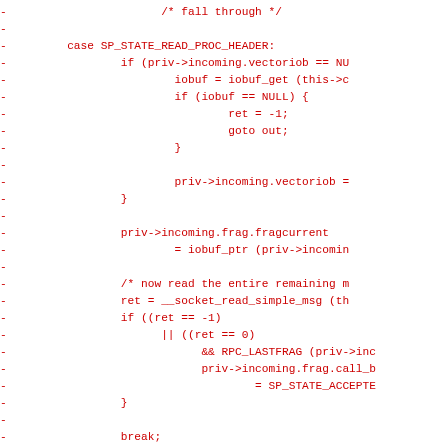[Figure (other): Source code diff showing removed lines (prefixed with '-') in red monospace font, depicting C code for a state machine case SP_STATE_READ_PROC_HEADER with iobuf allocation, NULL checks, vectoriob assignment, frag pointer assignment, socket read, and RPC_LASTFRAG condition leading to SP_STATE_ACCEPTED, followed by break and out: label with return ret.]